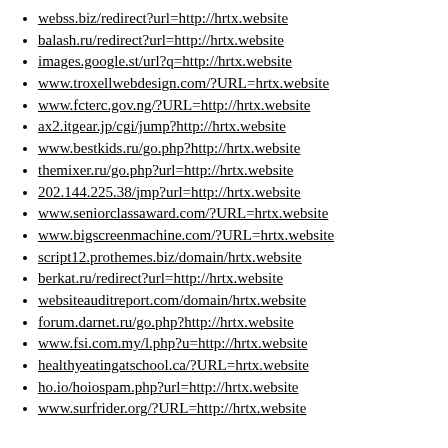webss.biz/redirect?url=http://hrtx.website
balash.ru/redirect?url=http://hrtx.website
images.google.st/url?q=http://hrtx.website
www.troxellwebdesign.com/?URL=hrtx.website
www.fcterc.gov.ng/?URL=http://hrtx.website
ax2.itgear.jp/cgi/jump?http://hrtx.website
www.bestkids.ru/go.php?http://hrtx.website
themixer.ru/go.php?url=http://hrtx.website
202.144.225.38/jmp?url=http://hrtx.website
www.seniorclassaward.com/?URL=hrtx.website
www.bigscreenmachine.com/?URL=hrtx.website
script12.prothemes.biz/domain/hrtx.website
berkat.ru/redirect?url=http://hrtx.website
websiteauditreport.com/domain/hrtx.website
forum.darnet.ru/go.php?http://hrtx.website
www.fsi.com.my/l.php?u=http://hrtx.website
healthyeatingatschool.ca/?URL=hrtx.website
ho.io/hoiospam.php?url=http://hrtx.website
www.surfrider.org/?URL=http://hrtx.website